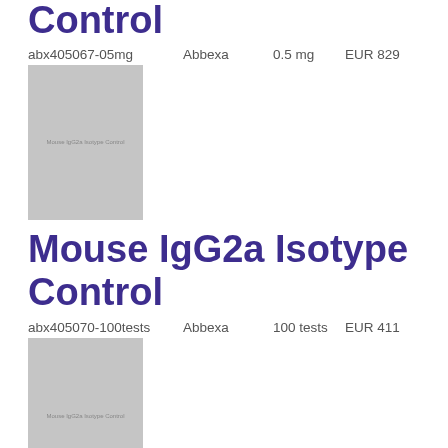Control
abx405067-05mg    Abbexa    0.5 mg    EUR 829
[Figure (photo): Product image placeholder for Mouse IgG2a Isotype Control with light grey background and small text label]
Mouse IgG2a Isotype Control
abx405070-100tests    Abbexa    100 tests    EUR 411
[Figure (photo): Product image placeholder for Mouse IgG2a Isotype Control with light grey background and small text label]
Mouse IgG2a Isotype